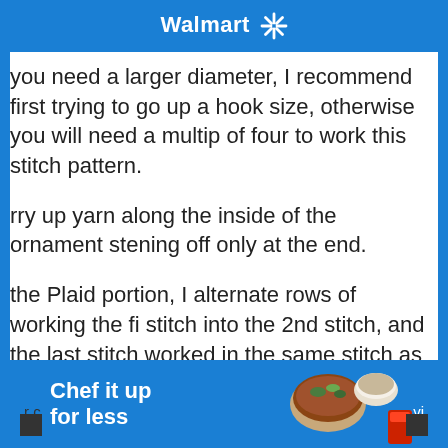Walmart
you need a larger diameter, I recommend first trying to go up a hook size, otherwise you will need a multiple of four to work this stitch pattern.
rry up yarn along the inside of the ornament stening off only at the end.
the Plaid portion, I alternate rows of working the first stitch into the 2nd stitch, and the last stitch worked into the same stitch as the beginning chain; and then a row with the first stitch worked into the 1st stitch, and the last stitch worked into the actual last stitch. I do this to keep my seam straight.
[Figure (screenshot): Walmart advertisement banner at bottom: 'Chef it up for less' with food imagery]